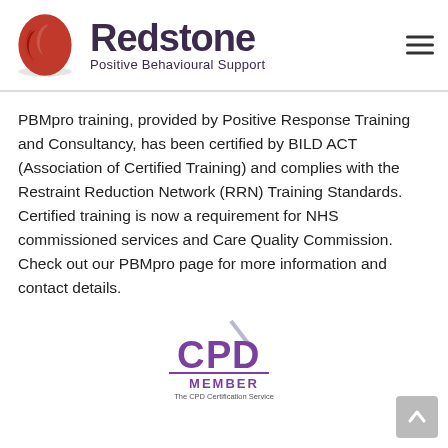[Figure (logo): Redstone Positive Behavioural Support logo — red oval with two face silhouettes, next to bold 'Redstone' text and subtitle 'Positive Behavioural Support', with hamburger menu icon on the right]
PBMpro training, provided by Positive Response Training and Consultancy, has been certified by BILD ACT (Association of Certified Training) and complies with the Restraint Reduction Network (RRN) Training Standards.  Certified training is now a requirement for NHS commissioned services and Care Quality Commission. Check out our PBMpro page for more information and contact details.
[Figure (logo): CPD Member certification badge — purple CPD letters with a checkmark, 'MEMBER' text below, and 'The CPD Certification Service' caption]